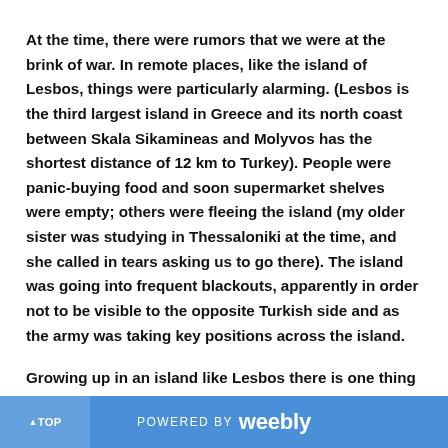At the time, there were rumors that we were at the brink of war. In remote places, like the island of Lesbos, things were particularly alarming. (Lesbos is the third largest island in Greece and its north coast between Skala Sikamineas and Molyvos has the shortest distance of 12 km to Turkey). People were panic-buying food and soon supermarket shelves were empty; others were fleeing the island (my older sister was studying in Thessaloniki at the time, and she called in tears asking us to go there). The island was going into frequent blackouts, apparently in order not to be visible to the opposite Turkish side and as the army was taking key positions across the island.
Growing up in an island like Lesbos there is one thing you learn and that is how to live with a bad neighbor. You know the kind of neighbor that makes too much noise, does not like to work
POWERED BY weebly